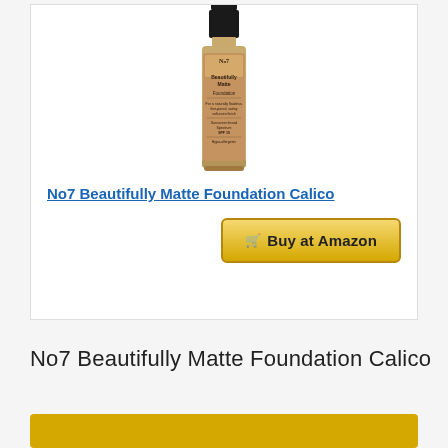[Figure (photo): No7 Beautifully Matte Foundation Calico product bottle — a tall narrow glass bottle with a black pump cap, gold/tan colored liquid visible, labeled 'No7 Beautifully Matte Foundation' with text about SPF 15 and hypo-allergenic]
No7 Beautifully Matte Foundation Calico
🛒 Buy at Amazon
No7 Beautifully Matte Foundation Calico